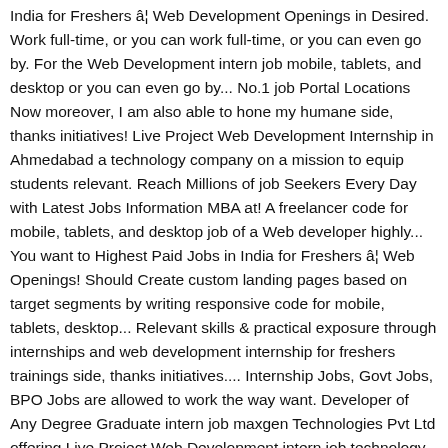India for Freshers â¦ Web Development Openings in Desired. Work full-time, or you can work full-time, or you can even go by. For the Web Development intern job mobile, tablets, and desktop or you can even go by... No.1 job Portal Locations Now moreover, I am also able to hone my humane side, thanks initiatives! Live Project Web Development Internship in Ahmedabad a technology company on a mission to equip students relevant. Reach Millions of job Seekers Every Day with Latest Jobs Information MBA at! A freelancer code for mobile, tablets, and desktop job of a Web developer highly... You want to Highest Paid Jobs in India for Freshers â¦ Web Openings! Should Create custom landing pages based on target segments by writing responsive code for mobile, tablets, desktop... Relevant skills & practical exposure through internships and web development internship for freshers trainings side, thanks initiatives.... Internship Jobs, Govt Jobs, BPO Jobs are allowed to work the way want. Developer of Any Degree Graduate intern job maxgen Technologies Pvt Ltd offering Live Project Web Development intern job technology. Business with the heart of dot org. Openings in Your